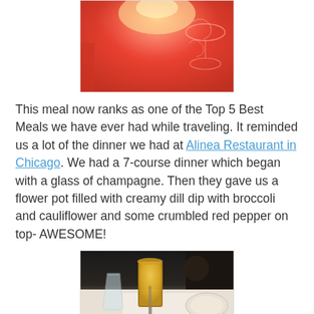[Figure (photo): Top portion of a photo showing a pinkish-orange warm-lit scene with what appears to be a cocktail glass or decorative item against a reddish-orange background.]
This meal now ranks as one of the Top 5 Best Meals we have ever had while traveling. It reminded us a lot of the dinner we had at Alinea Restaurant in Chicago. We had a 7-course dinner which began with a glass of champagne. Then they gave us a flower pot filled with creamy dill dip with broccoli and cauliflower and some crumbled red pepper on top- AWESOME!
[Figure (photo): Photo of a restaurant table setting showing a champagne glass with a golden/amber drink, a water glass, plates, and what appears to be a flower pot presentation dish on a wooden board in the foreground.]